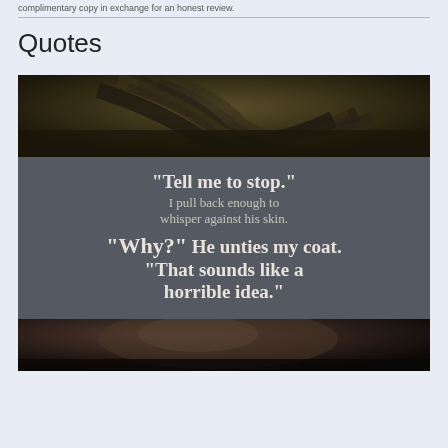complimentary copy in exchange for an honest review.
Quotes
[Figure (illustration): A composite image: top portion shows a dark moody photo of hair/person from above, middle portion is a dark gray panel with styled quote text reading: "Tell me to stop." I pull back enough to whisper against his skin. "Why?" He unties my coat. "That sounds like a horrible idea." Bottom portion shows a dark moody close-up photo.]